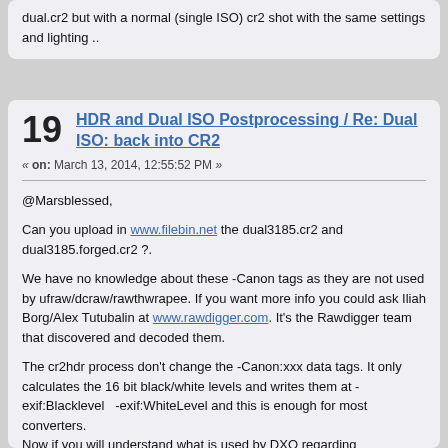dual.cr2 but with a normal (single ISO) cr2 shot with the same settings and lighting ..
19  HDR and Dual ISO Postprocessing / Re: Dual ISO: back into CR2
« on: March 13, 2014, 12:55:52 PM »
@Marsblessed,
Can you upload in www.filebin.net the dual3185.cr2 and dual3185.forged.cr2 ?.
We have no knowledge about these -Canon tags as they are not used by ufraw/dcraw/rawthwrapee. If you want more info you could ask Iliah Borg/Alex Tutubalin at www.rawdigger.com. It's the Rawdigger team that discovered and decoded them.
The cr2hdr process don't change the -Canon:xxx data tags. It only calculates the 16 bit black/white levels and writes them at -exif:Blacklevel  -exif:WhiteLevel and this is enough for most converters.
Now if you will understand what is used by DXO regarding Black/White levels when converting *.CR2s ( -Canon:xxx tags or some kind of calculation or a predefined default value ..)  then you will be able to translate the exif:BlackLevel and exif:WhiteLevel to the needed by DxO.info by either updating the -Canon:xxx tags (if